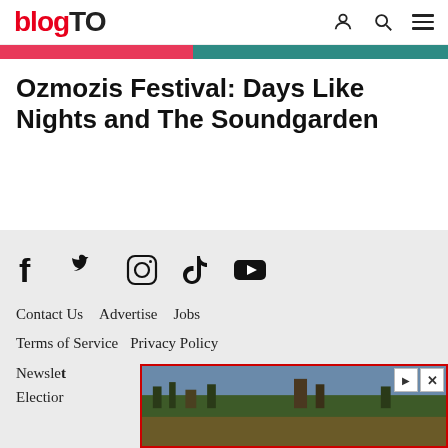blogTO
[Figure (other): A two-tone color bar: pink/red on left, teal on right]
Ozmozis Festival: Days Like Nights and The Soundgarden
[Figure (infographic): Social media icons: Facebook, Twitter, Instagram, TikTok, YouTube]
Contact Us   Advertise   Jobs
Terms of Service   Privacy Policy
Newsletter
Election
[Figure (photo): Advertisement banner showing an aerial/landscape photo with red border, with play and close buttons in top right]